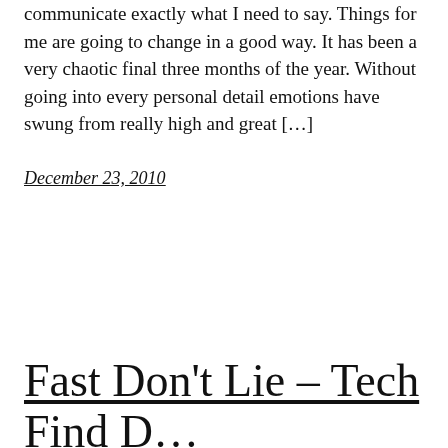communicate exactly what I need to say. Things for me are going to change in a good way. It has been a very chaotic final three months of the year. Without going into every personal detail emotions have swung from really high and great […]
December 23, 2010
Fast Don't Lie – Tech Find D…